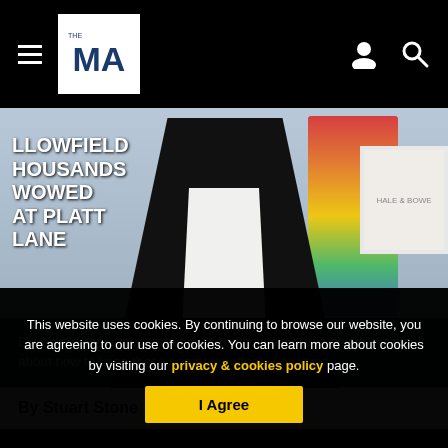THE MA (logo) navigation bar with hamburger menu, logo, user icon, search icon
[Figure (photo): A man in a black jacket and white shirt photographed from chest up, with colourful artwork and framed pictures visible in the background. White text on dark sign on left reads: LLOWFIELD HOUSANDS WOWED AT PLATT LANE]
Extremely concerned: 'what we need now are serious conversations about how to keep these operators afloat,' Lord said
By Stuart Stone
This website uses cookies. By continuing to browse our website, you are agreeing to our use of cookies. You can learn more about cookies by visiting our privacy & cookies policy page.
I Agree